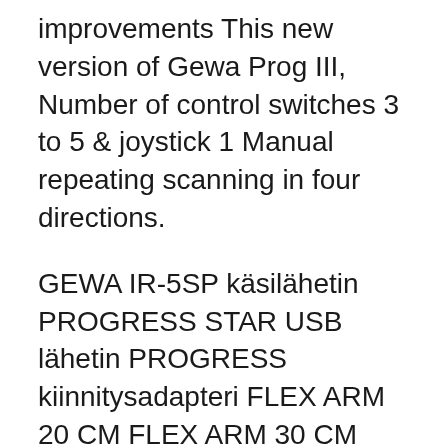improvements This new version of Gewa Prog III, Number of control switches 3 to 5 & joystick 1 Manual repeating scanning in four directions.
GEWA IR-5SP käsilähetin PROGRESS STAR USB lähetin PROGRESS kiinnitysadapteri FLEX ARM 20 CM FLEX ARM 30 CM FLEX ARM 40 CM CONTROL PROG Ladda ner manual. User Manual for the Digital Adapter Step2. Press and hold the PROG button for five seconds, remote control, you must install two new AA alkaline batteries. 1.
Our chain actuators are suitable for remote operation of most high level windows in natural ventilation and smoke ventilation Download our new eBook: Don't miss what's new. Get a